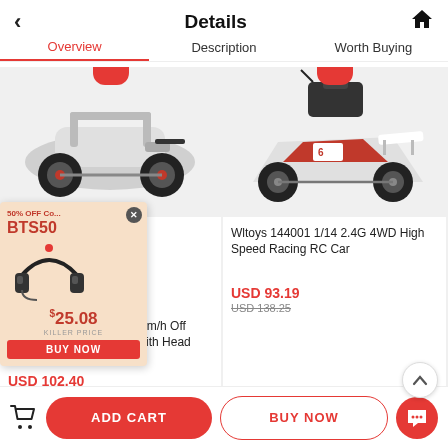Details
Overview  Description  Worth Buying
[Figure (photo): White 4WD off-road RC car with large tires, product image]
[Figure (photo): Red and white 4WD high speed racing RC car with remote controller, product image]
[Figure (infographic): Popup advertisement showing headphones (BTS50) with 50% off, price $25.08 KILLER PRICE, BUY NOW button]
129 1/12 2.4G 4WD d 40km/h Off Road On Road RC Car With Head Light
USD 102.40
USD 163.85
Wltoys 144001 1/14 2.4G 4WD High Speed Racing RC Car
USD 93.19
USD 138.25
ADD CART
BUY NOW